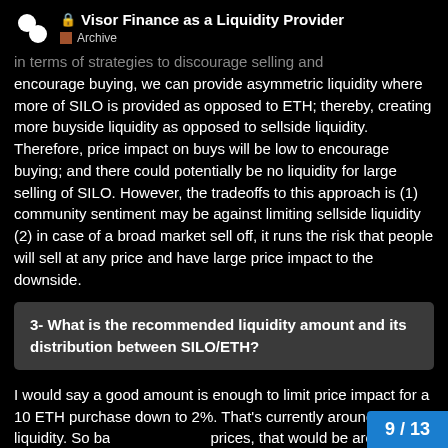🔒 Visor Finance as a Liquidity Provider — Archive
in terms of strategies to discourage selling and encourage buying, we can provide asymmetric liquidity where more of SILO is provided as opposed to ETH; thereby, creating more buyside liquidity as opposed to sellside liquidity. Therefore, price impact on buys will be low to encourage buying; and there could potentially be no liquidity for large selling of SILO. However, the tradeoffs to this approach is (1) community sentiment may be against limiting sellside liquidity (2) in case of a broad market sell off, it runs the risk that people will sell at any price and have large price impact to the downside.
3- What is the recommended liquidity amount and its distribution between SILO/ETH?
I would say a good amount is enough to limit price impact for a 10 ETH purchase down to 2%. That's currently around $2M in liquidity. So ba prices, that would be around 3.5M SILO
9 / 13